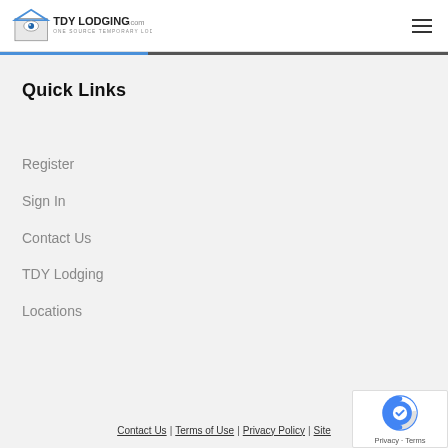TDY LODGING.com — ONE SOURCE TEMPORARY LODGING
Quick Links
Register
Sign In
Contact Us
TDY Lodging
Locations
Contact Us | Terms of Use | Privacy Policy | Site